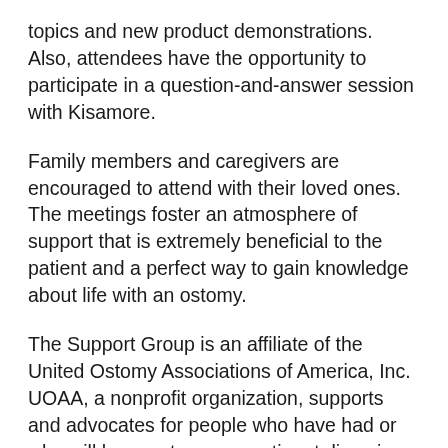topics and new product demonstrations. Also, attendees have the opportunity to participate in a question-and-answer session with Kisamore.
Family members and caregivers are encouraged to attend with their loved ones. The meetings foster an atmosphere of support that is extremely beneficial to the patient and a perfect way to gain knowledge about life with an ostomy.
The Support Group is an affiliate of the United Ostomy Associations of America, Inc. UOAA, a nonprofit organization, supports and advocates for people who have had or who will have ostomy or continent diversion surgery.
Kisamore stressed the benefits of these services, "regardless of your stage in ostomy care, whether you are new, or have lived with an ostomy for a long time